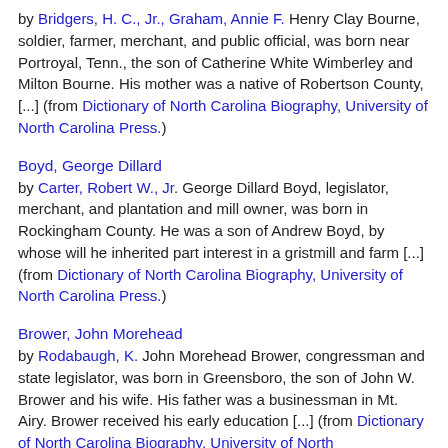by Bridgers, H. C., Jr., Graham, Annie F. Henry Clay Bourne, soldier, farmer, merchant, and public official, was born near Portroyal, Tenn., the son of Catherine White Wimberley and Milton Bourne. His mother was a native of Robertson County, [...] (from Dictionary of North Carolina Biography, University of North Carolina Press.)
Boyd, George Dillard
by Carter, Robert W., Jr. George Dillard Boyd, legislator, merchant, and plantation and mill owner, was born in Rockingham County. He was a son of Andrew Boyd, by whose will he inherited part interest in a gristmill and farm [...] (from Dictionary of North Carolina Biography, University of North Carolina Press.)
Brower, John Morehead
by Rodabaugh, K. John Morehead Brower, congressman and state legislator, was born in Greensboro, the son of John W. Brower and his wife. His father was a businessman in Mt. Airy. Brower received his early education [...] (from Dictionary of North Carolina Biography, University of North Carolina Press.)